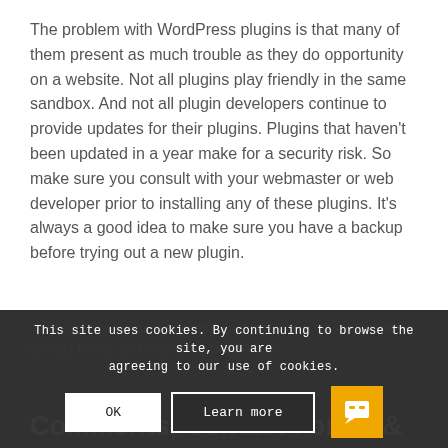The problem with WordPress plugins is that many of them present as much trouble as they do opportunity on a website. Not all plugins play friendly in the same sandbox. And not all plugin developers continue to provide updates for their plugins. Plugins that haven't been updated in a year make for a security risk. So make sure you consult with your webmaster or web developer prior to installing any of these plugins. It's always a good idea to make sure you have a backup before trying out a new plugin.
Today we are going to talk about plugins that control comments, contact forms, and forums for WordPress.
This site uses cookies. By continuing to browse the site, you are agreeing to our use of cookies.
Comments, Contact Forms &